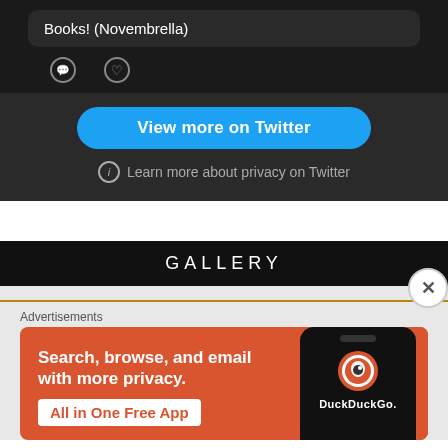Books! (Novembrella)
[Figure (screenshot): Twitter embed tweet text box showing 'Books! (Novembrella)' with comment and heart icons below]
View more on Twitter
ⓘ Learn more about privacy on Twitter
GALLERY
Advertisements
[Figure (screenshot): DuckDuckGo advertisement banner with orange background. Text reads: 'Search, browse, and email with more privacy. All in One Free App' with a phone mockup showing DuckDuckGo logo.]